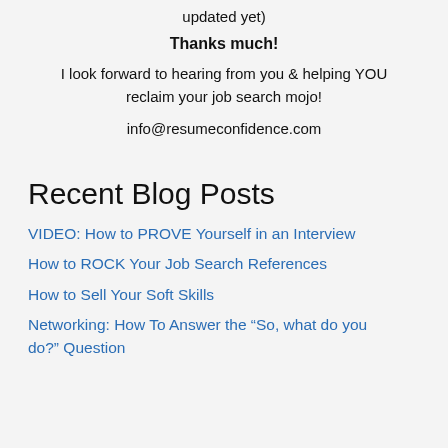updated yet)
Thanks much!
I look forward to hearing from you & helping YOU reclaim your job search mojo!
info@resumeconfidence.com
Recent Blog Posts
VIDEO: How to PROVE Yourself in an Interview
How to ROCK Your Job Search References
How to Sell Your Soft Skills
Networking: How To Answer the “So, what do you do?” Question